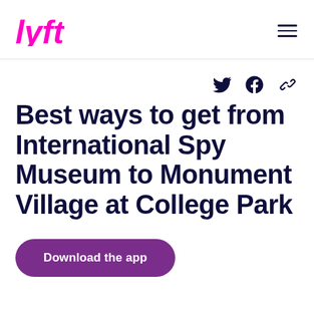Lyft logo and navigation
[Figure (logo): Lyft logo in pink/magenta color, top left]
Best ways to get from International Spy Museum to Monument Village at College Park
Download the app